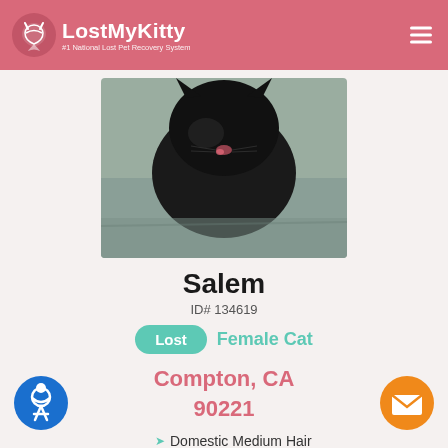LostMyKitty — #1 National Lost Pet Recovery System
[Figure (photo): Black cat sitting on pavement, viewed from front, close-up photo]
Salem
ID# 134619
Lost  Female Cat
Compton, CA 90221
Domestic Medium Hair
Black